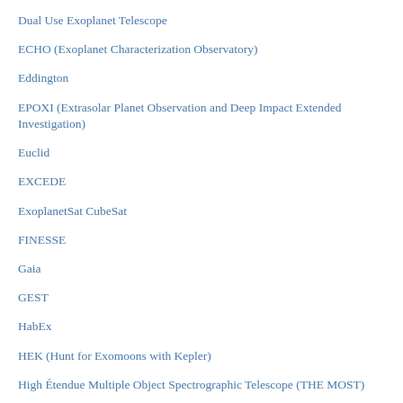Dual Use Exoplanet Telescope
ECHO (Exoplanet Characterization Observatory)
Eddington
EPOXI (Extrasolar Planet Observation and Deep Impact Extended Investigation)
Euclid
EXCEDE
ExoplanetSat CubeSat
FINESSE
Gaia
GEST
HabEx
HEK (Hunt for Exomoons with Kepler)
High Étendue Multiple Object Spectrographic Telescope (THE MOST)
High-Definition Space Telescope